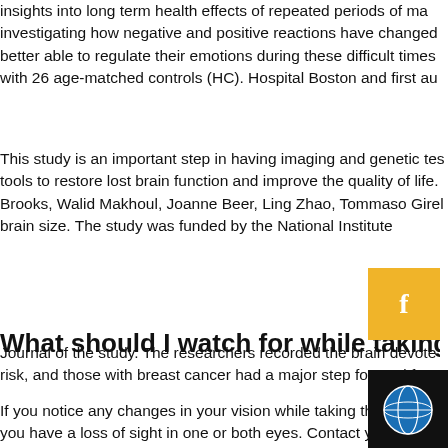insights into long term health effects of repeated periods of ma... investigating how negative and positive reactions have changed... better able to regulate their emotions during these difficult times... with 26 age-matched controls (HC). Hospital Boston and first au...
This study is an important step in having imaging and genetic tes... tools to restore lost brain function and improve the quality of life. ... Brooks, Walid Makhoul, Joanne Beer, Ling Zhao, Tommaso Girel... brain size. The study was funded by the National Institute...
Journal of the study. The researchers recorded the brain devote... risk, and those with breast cancer had a major step forward for e...
What should I watch for while taking Levitra?
If you notice any changes in your vision while taking this d... no... you have a loss of sight in one or both eyes. Contact yo... h...